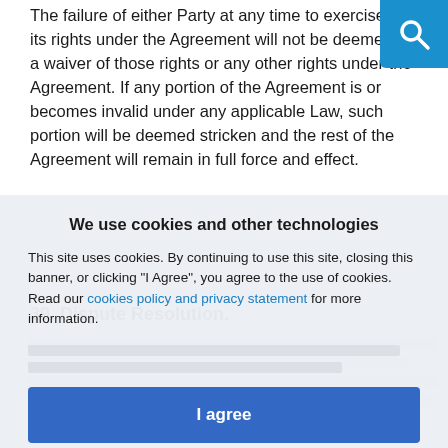The failure of either Party at any time to exercise any of its rights under the Agreement will not be deemed to be a waiver of those rights or any other rights under the Agreement. If any portion of the Agreement is or becomes invalid under any applicable Law, such portion will be deemed stricken and the rest of the Agreement will remain in full force and effect.
39. Dispute Resolution.
[Figure (screenshot): Cookie consent banner overlay with title 'We use cookies and other technologies', body text about cookies policy, a blue 'I agree' button, and a 'More information' link.]